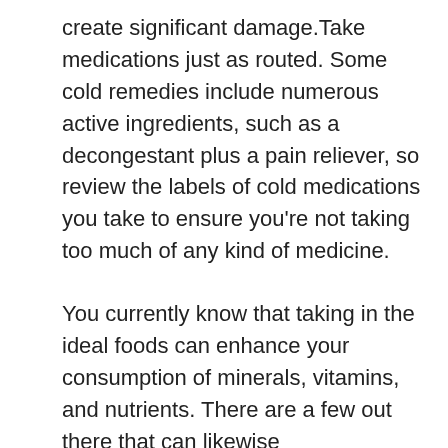create significant damage.Take medications just as routed. Some cold remedies include numerous active ingredients, such as a decongestant plus a pain reliever, so review the labels of cold medications you take to ensure you're not taking too much of any kind of medicine.
You currently know that taking in the ideal foods can enhance your consumption of minerals, vitamins, and nutrients. There are a few out there that can likewise